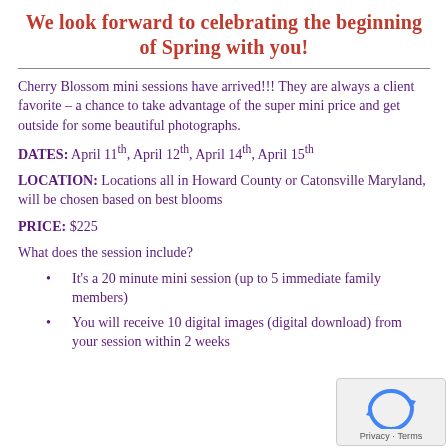We look forward to celebrating the beginning of Spring with you!
Cherry Blossom mini sessions have arrived!!! They are always a client favorite – a chance to take advantage of the super mini price and get outside for some beautiful photographs.
DATES: April 11th, April 12th, April 14th, April 15th
LOCATION: Locations all in Howard County or Catonsville Maryland, will be chosen based on best blooms
PRICE: $225
What does the session include?
It's a 20 minute mini session (up to 5 immediate family members)
You will receive 10 digital images (digital download) from your session within 2 weeks